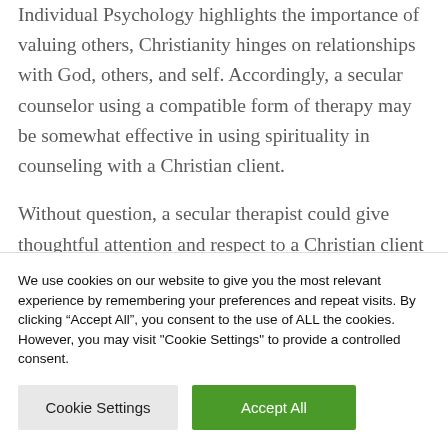Individual Psychology highlights the importance of valuing others, Christianity hinges on relationships with God, others, and self. Accordingly, a secular counselor using a compatible form of therapy may be somewhat effective in using spirituality in counseling with a Christian client.
Without question, a secular therapist could give thoughtful attention and respect to a Christian client with certain forms of therapy. For example,
We use cookies on our website to give you the most relevant experience by remembering your preferences and repeat visits. By clicking “Accept All”, you consent to the use of ALL the cookies. However, you may visit "Cookie Settings" to provide a controlled consent.